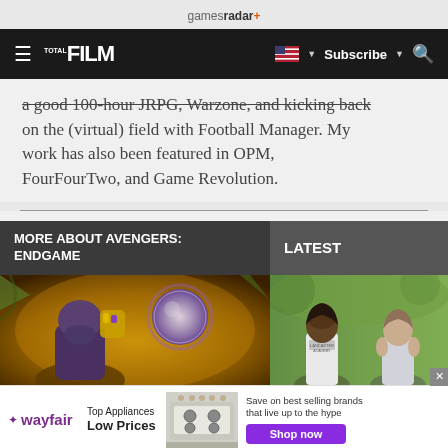gamesradar+
FILM | Subscribe | Search
a good 100-hour JRPG, Warzone, and kicking back on the (virtual) field with Football Manager. My work has also been featured in OPM, FourFourTwo, and Game Revolution.
MORE ABOUT AVENGERS: ENDGAME
LATEST
[Figure (photo): Scene from Avengers: Endgame showing Thanos with a glowing orb]
[Figure (photo): Scene from a movie showing two young women]
[Figure (advertisement): Wayfair advertisement showing top appliances at low prices with a stove image and Shop now button]